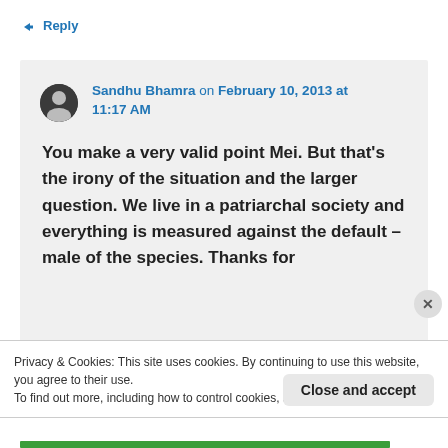↳ Reply
Sandhu Bhamra on February 10, 2013 at 11:17 AM
You make a very valid point Mei. But that's the irony of the situation and the larger question. We live in a patriarchal society and everything is measured against the default – male of the species. Thanks for
Privacy & Cookies: This site uses cookies. By continuing to use this website, you agree to their use.
To find out more, including how to control cookies, see here: Cookie Policy
Close and accept